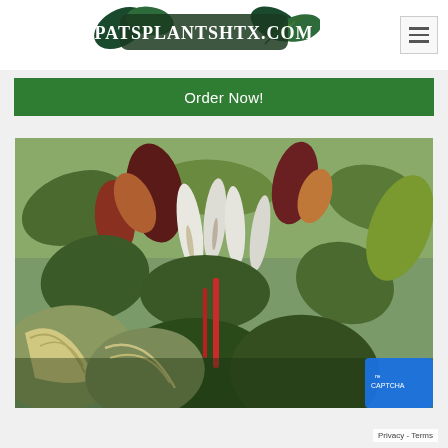[Figure (logo): PatsPlantsHTX.com logo with tropical leaf decorations]
Order Now!
[Figure (photo): Dense tropical plant display with peace lilies (white spathes), philodendrons, and colorful foliage plants in various shades of green, red, burgundy, and cream]
Privacy - Terms